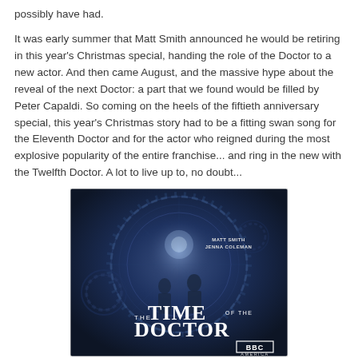possibly have had.
It was early summer that Matt Smith announced he would be retiring in this year's Christmas special, handing the role of the Doctor to a new actor.  And then came August, and the massive hype about the reveal of the next Doctor: a part that we found would be filled by Peter Capaldi.  So coming on the heels of the fiftieth anniversary special, this year's Christmas story had to be a fitting swan song for the Eleventh Doctor and for the actor who reigned during the most explosive popularity of the entire franchise... and ring in the new with the Twelfth Doctor.  A lot to live up to, no doubt...
[Figure (photo): Promotional poster for 'The Time of the Doctor' Doctor Who Christmas Special, showing Matt Smith and Jenna Coleman standing in front of a clock/gear background with the show title and BBC America logo. Text reads: MATT SMITH JENNA COLEMAN - THE TIME OF THE DOCTOR - BBC AMERICA]